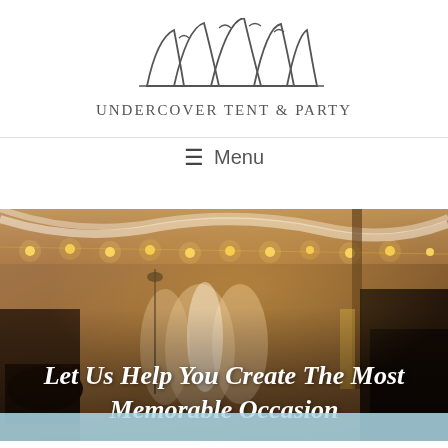[Figure (logo): UnderCover Tent & Party logo with stylized tent peaks above the brand name]
Menu
[Figure (photo): A warm-toned photo of a festive tent event with string lights overhead, people dancing and socializing, musicians with drums and brass instruments visible]
Let Us Help You Create The Most Memorable Occasion